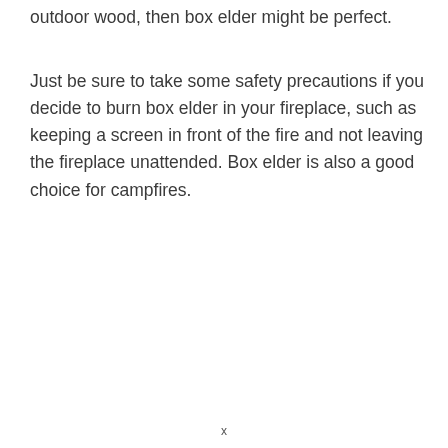outdoor wood, then box elder might be perfect.
Just be sure to take some safety precautions if you decide to burn box elder in your fireplace, such as keeping a screen in front of the fire and not leaving the fireplace unattended. Box elder is also a good choice for campfires.
x